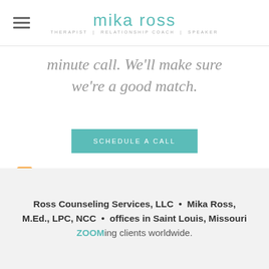mika ross — THERAPIST | RELATIONSHIP COACH | SPEAKER
minute call. We'll make sure we're a good match.
SCHEDULE A CALL
RSS Feed
Ross Counseling Services, LLC • Mika Ross, M.Ed., LPC, NCC • offices in Saint Louis, Missouri ZOOMing clients worldwide.